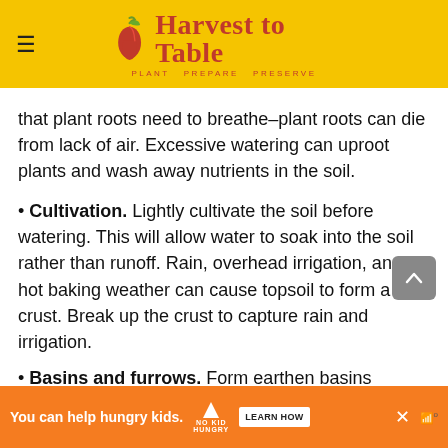Harvest to Table — PLANT PREPARE PRESERVE
that plant roots need to breathe–plant roots can die from lack of air. Excessive watering can uproot plants and wash away nutrients in the soil.
• Cultivation. Lightly cultivate the soil before watering. This will allow water to soak into the soil rather than runoff. Rain, overhead irrigation, and hot baking weather can cause topsoil to form a crust. Break up the crust to capture rain and irrigation.
• Basins and furrows. Form earthen basins around large, deep-rooted plants such as tomatoes, peppers, and eggplants. A basin will help retain irrigation and rain...
[Figure (other): Advertisement bar: You can help hungry kids. No Kid Hungry. LEARN HOW button.]